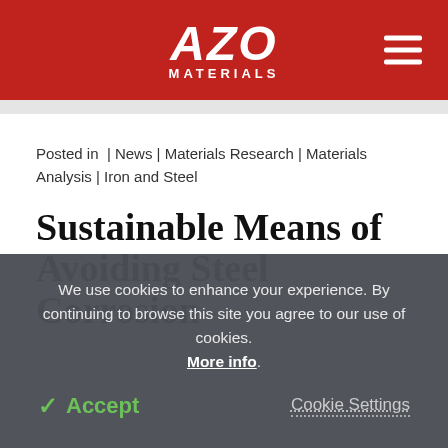AZO MATERIALS
Posted in | News | Materials Research | Materials Analysis | Iron and Steel
Sustainable Means of Avoiding Steel Corrosion
We use cookies to enhance your experience. By continuing to browse this site you agree to our use of cookies. More info.
✓ Accept   Cookie Settings